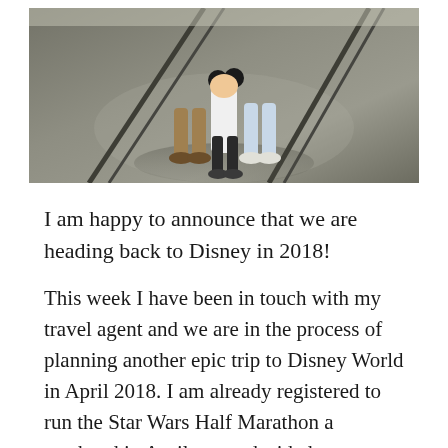[Figure (photo): Outdoor photo of people (adults and a child wearing Minnie Mouse ears) standing on dark pavement with diagonal track lines/rails visible on the ground, taken in bright sunlight.]
I am happy to announce that we are heading back to Disney in 2018!
This week I have been in touch with my travel agent and we are in the process of planning another epic trip to Disney World in April 2018. I am already registered to run the Star Wars Half Marathon a weekend in April so we decided to turn that weekend in a extra long